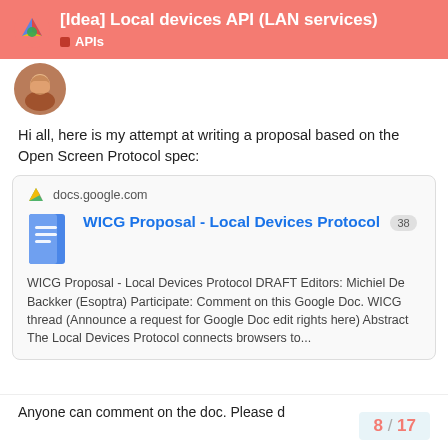[Idea] Local devices API (LAN services) — APIs
[Figure (screenshot): User avatar photo]
Hi all, here is my attempt at writing a proposal based on the Open Screen Protocol spec:
[Figure (screenshot): Link card: docs.google.com — WICG Proposal - Local Devices Protocol 38 — WICG Proposal - Local Devices Protocol DRAFT Editors: Michiel De Backker (Esoptra) Participate: Comment on this Google Doc. WICG thread (Announce a request for Google Doc edit rights here) Abstract The Local Devices Protocol connects browsers to...]
Anyone can comment on the doc. Please d
8 / 17